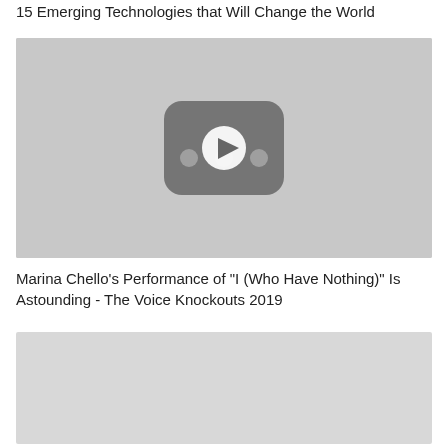15 Emerging Technologies that Will Change the World
[Figure (screenshot): Video thumbnail with YouTube-style play button icon on grey background]
Marina Chello's Performance of "I (Who Have Nothing)" Is Astounding - The Voice Knockouts 2019
[Figure (screenshot): Partially visible video thumbnail at bottom of page]